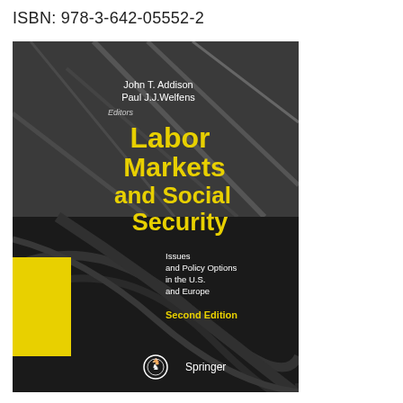ISBN: 978-3-642-05552-2
[Figure (illustration): Book cover of 'Labor Markets and Social Security: Issues and Policy Options in the U.S. and Europe, Second Edition' edited by John T. Addison and Paul J.J. Welfens. Dark/monochrome background with chair imagery. Large yellow title text. Yellow square accent on lower left. Springer publisher logo at bottom.]